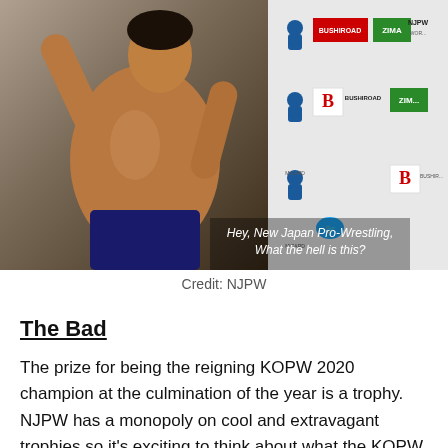[Figure (photo): A shirtless muscular wrestler posing in front of a sponsor backdrop with logos including NJPW, BUSHIROAD, ZIMA. Subtitle overlay reads 'Hey, New Japan Pro-Wrestling, What the hell is this?']
Credit: NJPW
The Bad
The prize for being the reigning KOPW 2020 champion at the culmination of the year is a trophy. NJPW has a monopoly on cool and extravagant trophies so it's exciting to think about what the KOPW trophy will look like. However those other trophies (New Japan Cup, Best of the Super Juniors etc.) come with guarantees of a future title shot